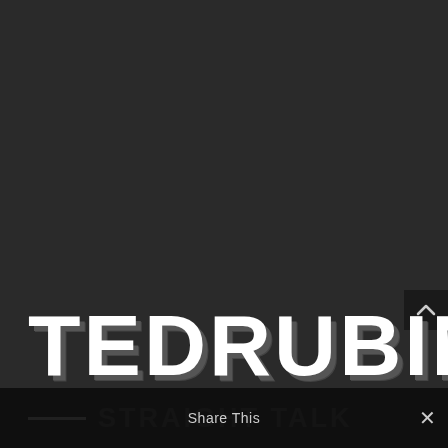[Figure (logo): Dark background screenshot of a Ted Rubin Straight Talk logo. Large white bold uppercase text 'TEDRUBIN' appears near the bottom, with 'STRAIGHT TALK' in gray below it, preceded by a white horizontal line. A scroll-up button appears top right. A 'Share This' bar overlays the very bottom.]
TEDRUBIN
STRAIGHT TALK
Share This